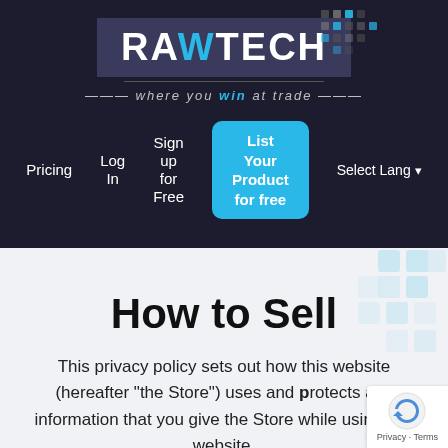[Figure (logo): RAWTECH logo with stylized slash and blue tech dot pattern, tagline 'where you win at trade']
Pricing | Log In | Sign up for Free | List Your Product for free | Select Language
How to Sell
This privacy policy sets out how this website (hereafter "the Store") uses and protects any information that you give the Store while using this website.